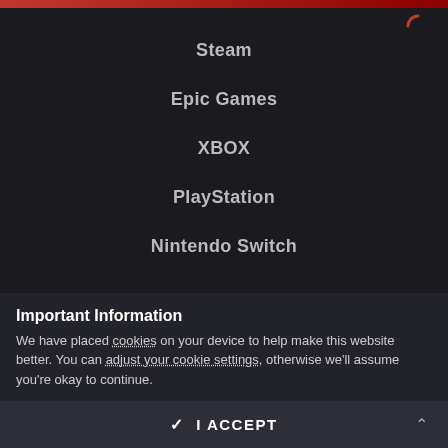Steam
Epic Games
XBOX
PlayStation
Nintendo Switch
CONNECT WITH US
[Figure (other): Social media icons row: approximately 6 circular/rounded icon buttons in a row]
Important Information
We have placed cookies on your device to help make this website better. You can adjust your cookie settings, otherwise we'll assume you're okay to continue.
✓ I ACCEPT